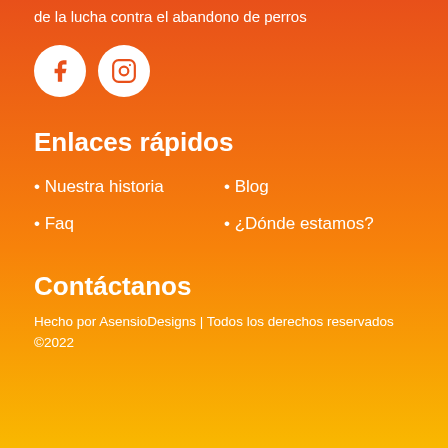de la lucha contra el abandono de perros
[Figure (illustration): Social media icons: Facebook and Instagram white circles on orange background]
Enlaces rápidos
• Nuestra historia
• Blog
• Faq
• ¿Dónde estamos?
Contáctanos
Hecho por AsensioDesigns | Todos los derechos reservados ©2022